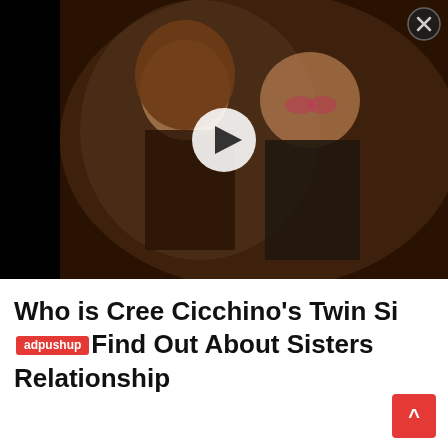[Figure (photo): Video thumbnail showing two people posing together — a woman with long brown hair in a sparkly black dress and a man wearing pink-tinted glasses and a black shirt. A white play button overlay is centered on the image. A close/dismiss button (X in a circle) appears in the top-right corner. Background is black.]
Who is Cree Cicchino's Twin Sister? Find Out About Sisters Relationship